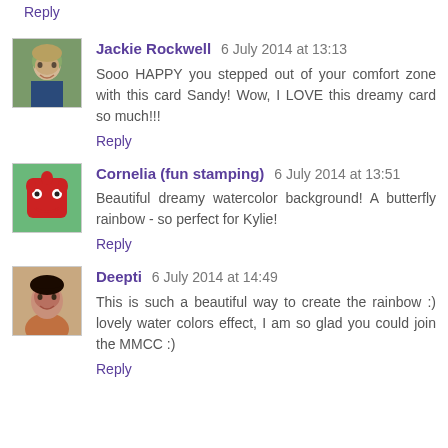Reply
[Figure (photo): Avatar photo of Jackie Rockwell - woman with light hair]
Jackie Rockwell 6 July 2014 at 13:13
Sooo HAPPY you stepped out of your comfort zone with this card Sandy! Wow, I LOVE this dreamy card so much!!!
Reply
[Figure (illustration): Avatar image of Cornelia - red cartoon monster character]
Cornelia (fun stamping) 6 July 2014 at 13:51
Beautiful dreamy watercolor background! A butterfly rainbow - so perfect for Kylie!
Reply
[Figure (photo): Avatar photo of Deepti - woman with dark hair smiling]
Deepti 6 July 2014 at 14:49
This is such a beautiful way to create the rainbow :) lovely water colors effect, I am so glad you could join the MMCC :)
Reply